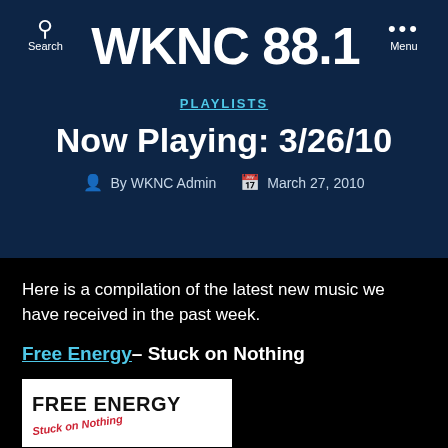WKNC 88.1 — Search | Menu
PLAYLISTS
Now Playing: 3/26/10
By WKNC Admin   March 27, 2010
Here is a compilation of the latest new music we have received in the past week.
Free Energy– Stuck on Nothing
[Figure (photo): Album cover for Free Energy - Stuck on Nothing, showing 'FREE ENERGY' text in bold black on white background with stylized handwriting below]